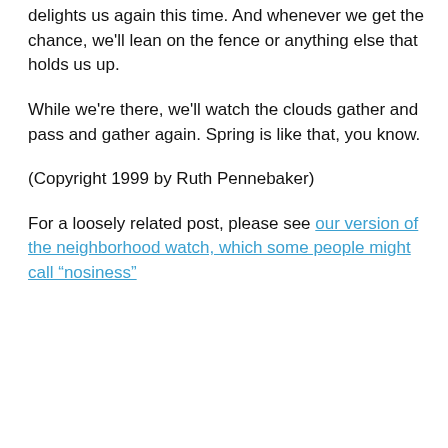delights us again this time. And whenever we get the chance, we'll lean on the fence or anything else that holds us up.
While we're there, we'll watch the clouds gather and pass and gather again. Spring is like that, you know.
(Copyright 1999 by Ruth Pennebaker)
For a loosely related post, please see our version of the neighborhood watch, which some people might call “nosiness”